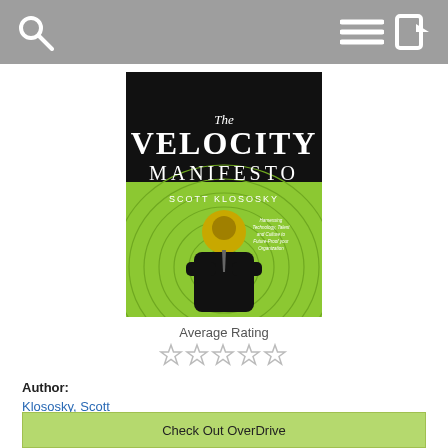Search / Menu / Login icons
[Figure (illustration): Book cover of 'The Velocity Manifesto' by Scott Klososky. Black top section with white serif title text 'The VELOCITY MANIFESTO' and author name 'SCOTT KLOSOSKY'. Lower portion has a lime green background with circular spiral pattern, featuring a silhouette of a suited man with arms crossed and a golden mechanical/coin head.]
Average Rating
[Figure (other): Five empty (unrated) star icons in a row for average rating display]
Author:
Klososky, Scott
Published:
Greenleaf Book Group 2007
Status:
Available from OverDrive
Check Out OverDrive